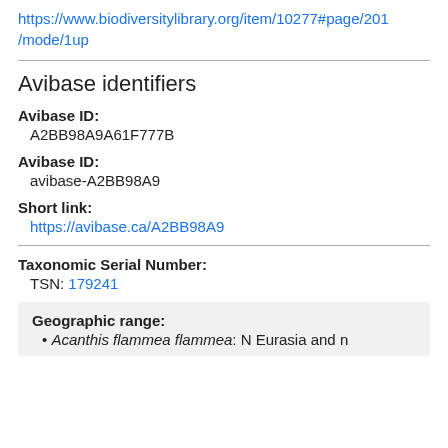https://www.biodiversitylibrary.org/item/10277#page/201/mode/1up
Avibase identifiers
Avibase ID: A2BB98A9A61F777B
Avibase ID: avibase-A2BB98A9
Short link: https://avibase.ca/A2BB98A9
Taxonomic Serial Number: TSN: 179241
Geographic range:
Acanthis flammea flammea: N Eurasia and n